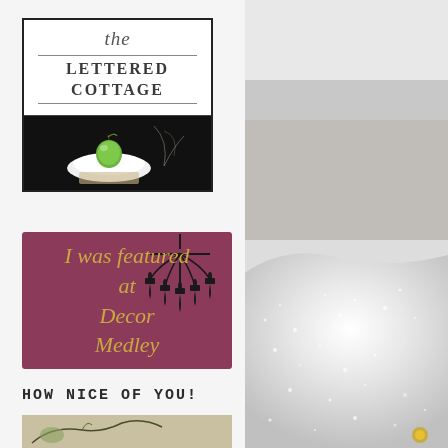[Figure (logo): The Lettered Cottage logo with script 'the' above bold serif text 'LETTERED COTTAGE' with horizontal rules, and a photo of a green apple on a white plate below]
[Figure (illustration): Dark pink/mauve badge reading 'I was featured at Decor Medley' in gold italic script with black chandelier silhouette]
HOW NICE OF YOU!
[Figure (photo): Partial view of botanical/bird illustration at bottom left]
[Figure (photo): Right side: close-up photo of a sparkly/glittery white object (likely a decorative shoe or Christmas ornament) against a light grey background]